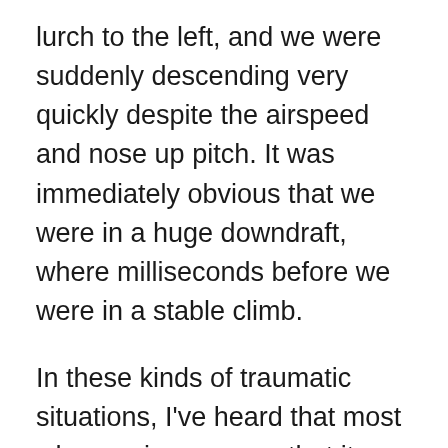lurch to the left, and we were suddenly descending very quickly despite the airspeed and nose up pitch. It was immediately obvious that we were in a huge downdraft, where milliseconds before we were in a stable climb.
In these kinds of traumatic situations, I've heard that most who survive express that it was as if they were in slow motion during the event. I can assure you that in this event the sheer violence and speed at which it unfolded was breathtaking. My guess is that no more than four or five seconds elapsed